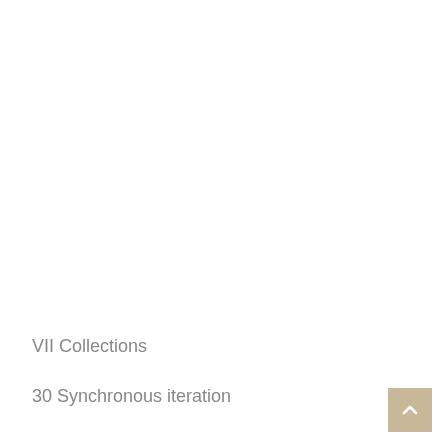VII Collections
30 Synchronous iteration